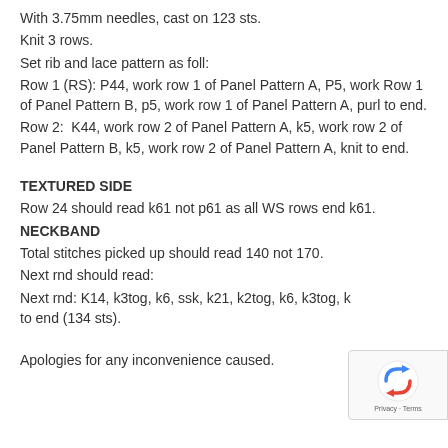With 3.75mm needles, cast on 123 sts.
Knit 3 rows.
Set rib and lace pattern as foll:
Row 1 (RS): P44, work row 1 of Panel Pattern A, P5, work Row 1 of Panel Pattern B, p5, work row 1 of Panel Pattern A, purl to end.
Row 2:  K44, work row 2 of Panel Pattern A, k5, work row 2 of Panel Pattern B, k5, work row 2 of Panel Pattern A, knit to end.
TEXTURED SIDE
Row 24 should read k61 not p61 as all WS rows end k61.
NECKBAND
Total stitches picked up should read 140 not 170.
Next rnd should read:
Next rnd: K14, k3tog, k6, ssk, k21, k2tog, k6, k3tog, k to end (134 sts).
Apologies for any inconvenience caused.